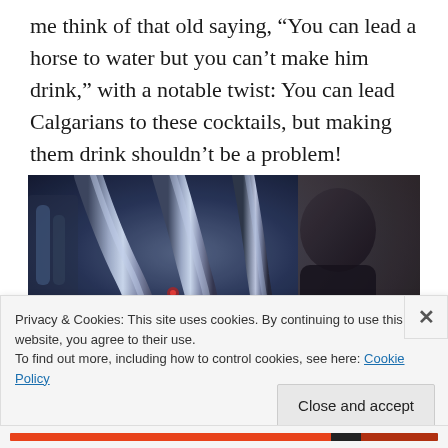me think of that old saying, “You can lead a horse to water but you can’t make him drink,” with a notable twist: You can lead Calgarians to these cocktails, but making them drink shouldn’t be a problem!
[Figure (photo): Photo of bar equipment including shiny metal beer taps and draft handles with a bartender in the background wearing a dark shirt, taken in a dimly lit bar setting with warm and cool lighting.]
Privacy & Cookies: This site uses cookies. By continuing to use this website, you agree to their use.
To find out more, including how to control cookies, see here: Cookie Policy